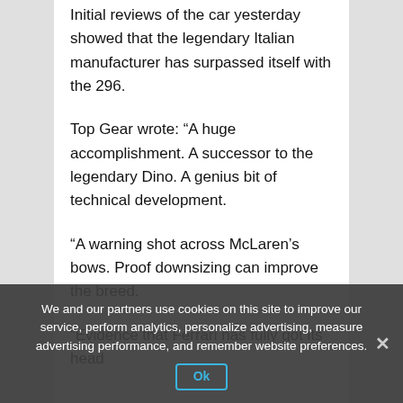Initial reviews of the car yesterday showed that the legendary Italian manufacturer has surpassed itself with the 296.
Top Gear wrote: “A huge accomplishment. A successor to the legendary Dino. A genius bit of technical development.
“A warning shot across McLaren’s bows. Proof downsizing can improve the breed.
“Evidence that Ferrari has fully got its head
We and our partners use cookies on this site to improve our service, perform analytics, personalize advertising, measure advertising performance, and remember website preferences.